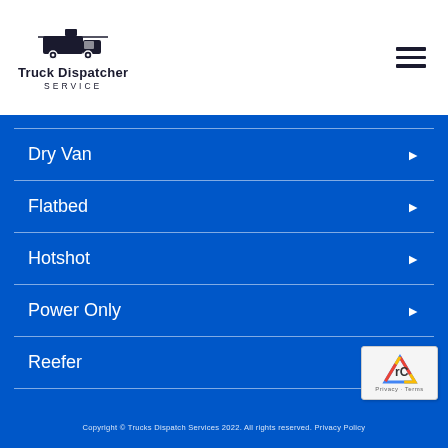[Figure (logo): Truck Dispatcher Service logo with truck icon above the text]
Dry Van
Flatbed
Hotshot
Power Only
Reefer
Step Deck
Copyright © Trucks Dispatch Services 2022. All rights reserved. Privacy Policy